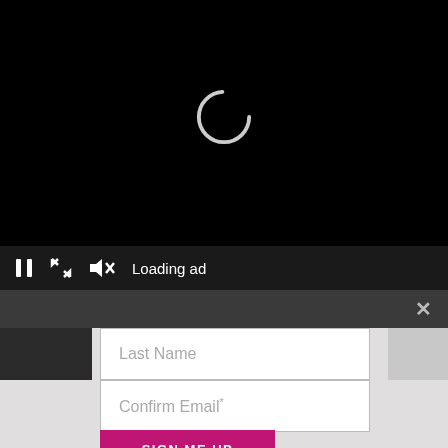[Figure (screenshot): Video player showing black screen with circular loading spinner in center]
Loading ad
[Figure (screenshot): Modal overlay with close X button and sign-up form containing Last Name, Email Address*, Confirm Email* fields and SIGN ME UP button]